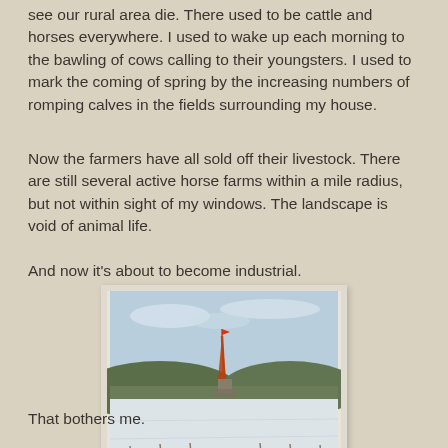see our rural area die. There used to be cattle and horses everywhere. I used to wake up each morning to the bawling of cows calling to their youngsters. I used to mark the coming of spring by the increasing numbers of romping calves in the fields surrounding my house.
Now the farmers have all sold off their livestock. There are still several active horse farms within a mile radius, but not within sight of my windows. The landscape is void of animal life.
And now it’s about to become industrial.
[Figure (photo): A drilling rig visible on the horizon above a snow-covered field, with forested hills in the background and a partly cloudy sky.]
That bothers me.